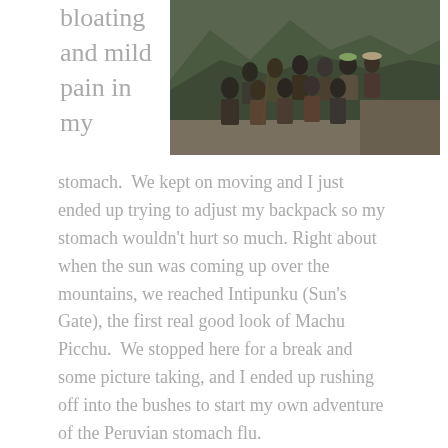bloating and mild pain in my
[Figure (photo): Group of hikers posing on a mountain trail with stone walls and mountainous valley in background, likely on the Inca Trail]
stomach.  We kept on moving and I just ended up trying to adjust my backpack so my stomach wouldn't hurt so much. Right about when the sun was coming up over the mountains, we reached Intipunku (Sun's Gate), the first real good look of Machu Picchu.  We stopped here for a break and some picture taking, and I ended up rushing off into the bushes to start my own adventure of the Peruvian stomach flu.
[Figure (photo): Three small photos at bottom: mountain landscape with Machu Picchu ruins, stone ruins close-up, and another mountain/cloud view]